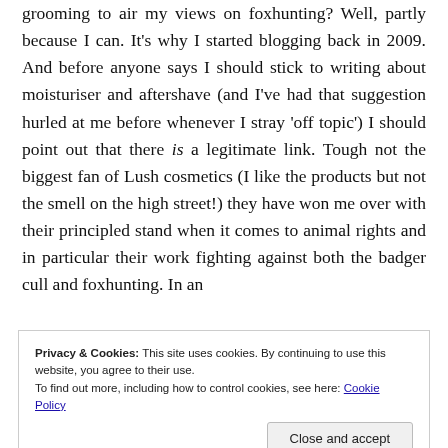grooming to air my views on foxhunting? Well, partly because I can. It's why I started blogging back in 2009. And before anyone says I should stick to writing about moisturiser and aftershave (and I've had that suggestion hurled at me before whenever I stray 'off topic') I should point out that there is a legitimate link. Tough not the biggest fan of Lush cosmetics (I like the products but not the smell on the high street!) they have won me over with their principled stand when it comes to animal rights and in particular their work fighting against both the badger cull and foxhunting. In an
Privacy & Cookies: This site uses cookies. By continuing to use this website, you agree to their use. To find out more, including how to control cookies, see here: Cookie Policy
have been amazing in their support of such causes. That,